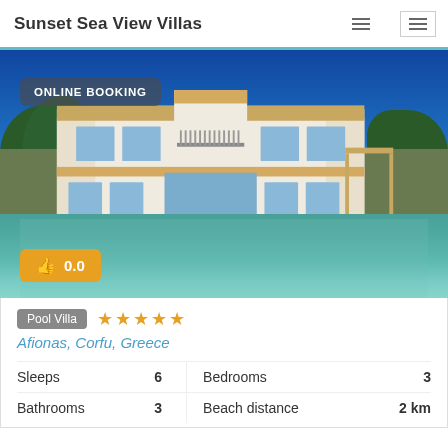Sunset Sea View Villas
[Figure (photo): Two-storey white Mediterranean villa with large windows and balcony, surrounded by trees, with a private swimming pool in foreground. Badge reads 'ONLINE BOOKING'. Rating badge shows thumbs up icon and 0.0.]
Pool Villa ★★★★★ Afionas, Corfu, Greece
|  |  |  |  |
| --- | --- | --- | --- |
| Sleeps | 6 | Bedrooms | 3 |
| Bathrooms | 3 | Beach distance | 2 km |